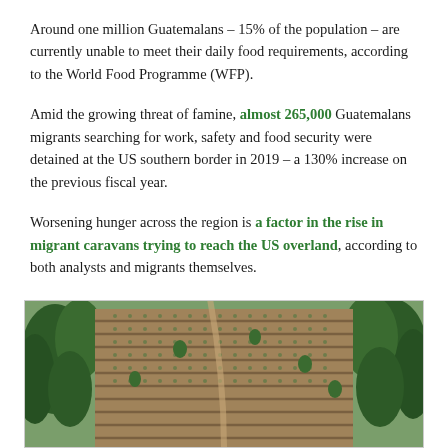Around one million Guatemalans – 15% of the population – are currently unable to meet their daily food requirements, according to the World Food Programme (WFP).
Amid the growing threat of famine, almost 265,000 Guatemalans migrants searching for work, safety and food security were detained at the US southern border in 2019 – a 130% increase on the previous fiscal year.
Worsening hunger across the region is a factor in the rise in migrant caravans trying to reach the US overland, according to both analysts and migrants themselves.
[Figure (photo): Aerial view of terraced farmland with rows of crops and trees on hillsides in Guatemala]